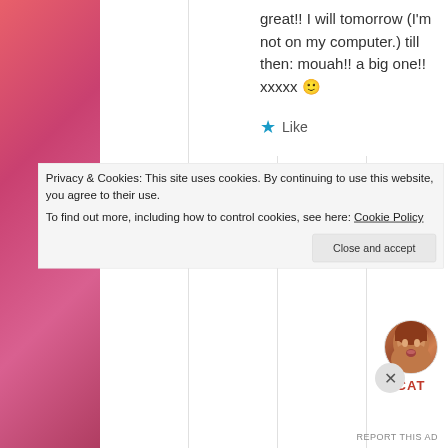[Figure (photo): Decorative floral/pink background image on the left side of the page]
great!! I will tomorrow (I'm not on my computer.) till then: mouah!! a big one!! xxxxx 🙂
★ Like
[Figure (photo): Small circular avatar photo of a woman with reddish-brown hair, making a kissing face]
CAT
Privacy & Cookies: This site uses cookies. By continuing to use this website, you agree to their use.
To find out more, including how to control cookies, see here: Cookie Policy
Close and accept
REPORT THIS AD